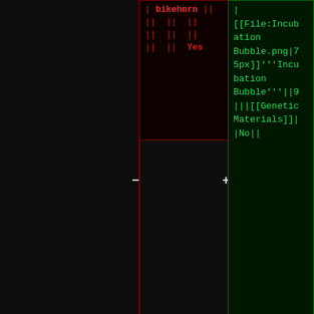[Figure (screenshot): Wiki markup editor screenshot showing a dark-themed code editor with red and green syntax-highlighted wiki table markup, white-bordered closure blocks, and a section header for Editor Containers Settings with descriptive text about cabinets placed using the submarine.]
| bikehorn ||
|| || ||
|| || ||
|| || Yes
|
[[File:Incubation Bubble.png|75px]]'''Incubation Bubble'''||9
|||[[Genetic Materials]]]|
|No||
|}
|}
==Editor Containers Settings==
Once placed, cabinets placed using the submarine